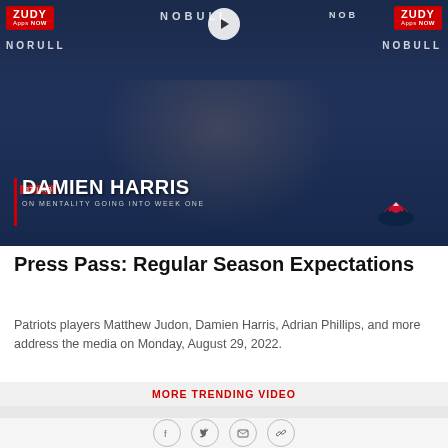[Figure (screenshot): Video thumbnail showing Damien Harris (#37, RB) at a press conference with ZUDY Apps NOW and NOBULL sponsor logos visible. Text overlay reads 'DAMIEN HARRIS ON MENTALITY GOING INTO WEEK ONE'. A play button is visible at the top center.]
Press Pass: Regular Season Expectations
Patriots players Matthew Judon, Damien Harris, Adrian Phillips, and more address the media on Monday, August 29, 2022.
MORE TRENDING VIDEO
[Figure (infographic): Theragun by Therabody advertisement featuring New England Patriots logo, text 'Take Control' and image of a Theragun massage device.]
[Figure (infographic): Social sharing icons: Facebook, Twitter, Email, Link]